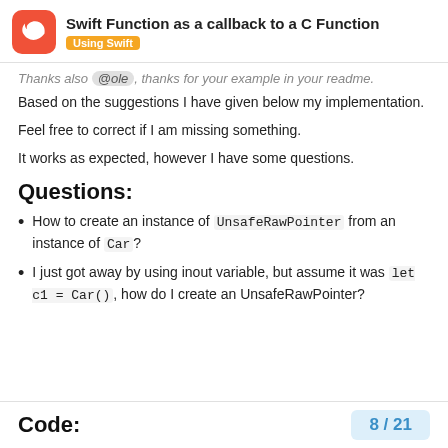Swift Function as a callback to a C Function | Using Swift
Thanks also @ole, thanks for your example in your readme.
Based on the suggestions I have given below my implementation.
Feel free to correct if I am missing something.
It works as expected, however I have some questions.
Questions:
How to create an instance of UnsafeRawPointer from an instance of Car?
I just got away by using inout variable, but assume it was let c1 = Car(), how do I create an UnsafeRawPointer?
Code:
8 / 21